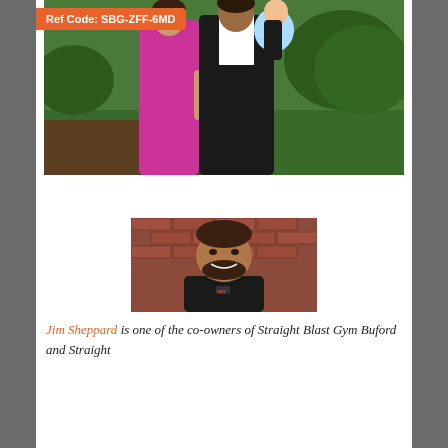Ref Code: SBG-ZFF-6MD
[Figure (photo): A couple dressed formally standing outdoors on grass with greenery in the background. The woman wears a bright pink/magenta dress and the man wears a black suit, holding a baby in a light blue outfit.]
[Figure (photo): Headshot of Jim Sheppard, a man with a beard wearing a black t-shirt with a small logo, standing in front of a brick wall.]
Jim Sheppard is one of the co-owners of Straight Blast Gym Buford and Straight